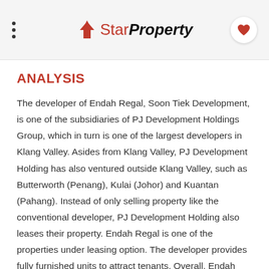StarProperty
ANALYSIS
The developer of Endah Regal, Soon Tiek Development, is one of the subsidiaries of PJ Development Holdings Group, which in turn is one of the largest developers in Klang Valley. Asides from Klang Valley, PJ Development Holding has also ventured outside Klang Valley, such as Butterworth (Penang), Kulai (Johor) and Kuantan (Pahang). Instead of only selling property like the conventional developer, PJ Development Holding also leases their property. Endah Regal is one of the properties under leasing option. The developer provides fully furnished units to attract tenants. Overall, Endah Regal is a good property to be owned, as well